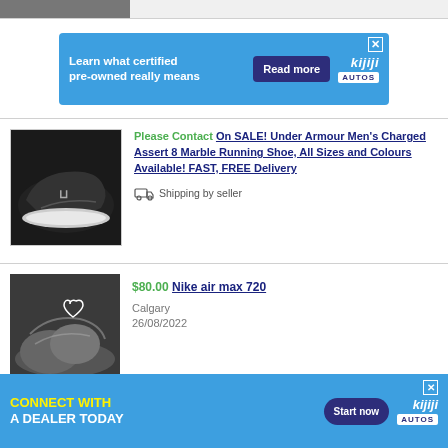[Figure (photo): Partial product image visible at top of page (shoe thumbnail)]
[Figure (screenshot): Kijiji Autos advertisement banner: 'Learn what certified pre-owned really means' with Read more button]
[Figure (photo): Black Under Armour running shoe]
Please Contact On SALE! Under Armour Men's Charged Assert 8 Marble Running Shoe, All Sizes and Colours Available! FAST, FREE Delivery
Shipping by seller
[Figure (photo): Nike Air Max 720 shoe photo]
$80.00 Nike air max 720
Calgary
26/08/2022
[Figure (photo): Partial Nike x Stussy sneaker image]
$190.00 Nike x Stussy Sneaker (Authentic)
[Figure (screenshot): Kijiji Autos advertisement banner: 'CONNECT WITH A DEALER TODAY' with Start now button]